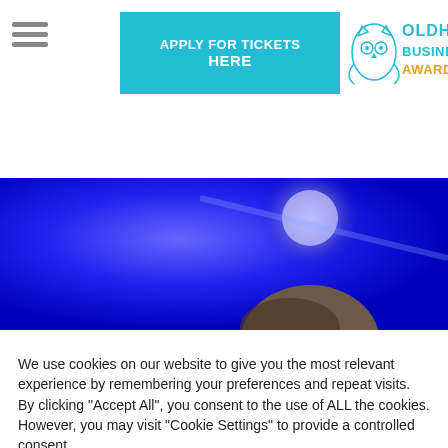[Figure (logo): Oldham Business Awards logo with owl graphic and colorful text]
APPLY FOR TICKETS HERE
[Figure (photo): Cropped photo of a person with blue/purple blurred background and a circular light element]
We use cookies on our website to give you the most relevant experience by remembering your preferences and repeat visits. By clicking "Accept All", you consent to the use of ALL the cookies. However, you may visit "Cookie Settings" to provide a controlled consent.
Cookie Settings
Accept All